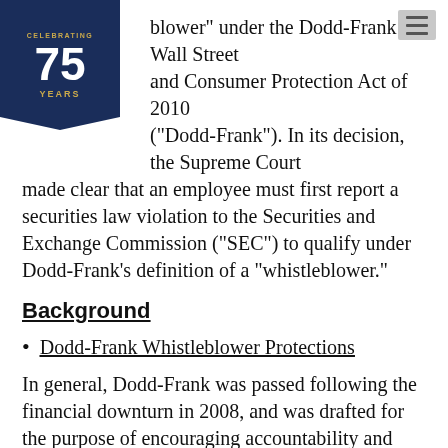[Figure (logo): Navy blue pennant/badge with '75 Years' celebrating logo in gold and white]
blower" under the Dodd-Frank Wall Street and Consumer Protection Act of 2010 ("Dodd-Frank"). In its decision, the Supreme Court made clear that an employee must first report a securities law violation to the Securities and Exchange Commission ("SEC") to qualify under Dodd-Frank's definition of a "whistleblower."
Background
Dodd-Frank Whistleblower Protections
In general, Dodd-Frank was passed following the financial downturn in 2008, and was drafted for the purpose of encouraging accountability and enforcement of consumer protection laws.  To that end, it provides that the SEC shall pay awards to eligible whistleblowers who voluntarily provide the SEC with original information that leads to a successful enforcement action yielding monetary